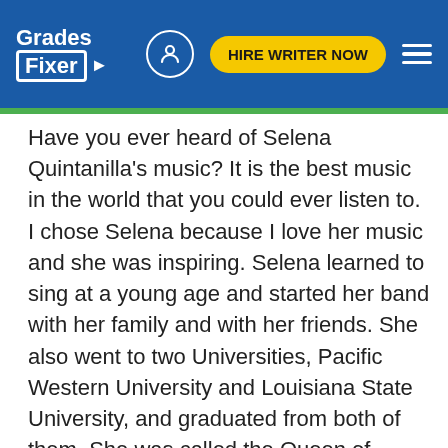Grades Fixer | HIRE WRITER NOW
Have you ever heard of Selena Quintanilla's music? It is the best music in the world that you could ever listen to. I chose Selena because I love her music and she was inspiring. Selena learned to sing at a young age and started her band with her family and with her friends. She also went to two Universities, Pacific Western University and Louisiana State University, and graduated from both of them. She was called the Queen of Tejano music, her contributions to music and fashion made her one of the most celebrated Mexican-American entertainers before she passed away. Selena Quintanilla was so respectful to everyone and never was disrespectful to any of her fans, she was always true to her family and husband, although she never had any kids of her own she loved to be with kids or